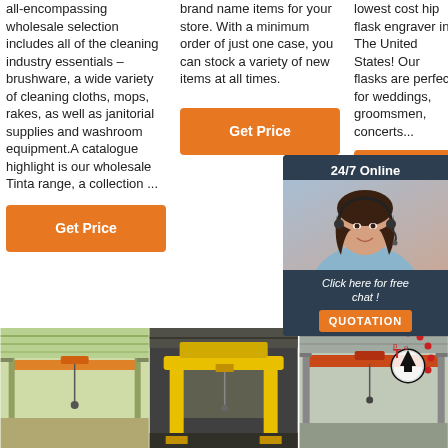all-encompassing wholesale selection includes all of the cleaning industry essentials – brushware, a wide variety of cleaning cloths, mops, rakes, as well as janitorial supplies and washroom equipment.A catalogue highlight is our wholesale Tinta range, a collection ...
brand name items for your store. With a minimum order of just one case, you can stock a variety of new items at all times.
lowest cost hip flask engraver in The United States! Our flasks are perfect for weddings, groomsmen, concerts...
[Figure (other): Orange Get Price button (column 2)]
[Figure (other): Orange Get Price button (column 3, partially hidden by chat widget)]
[Figure (other): 24/7 Online chat widget with woman wearing headset, Click here for free chat!, QUOTATION button]
[Figure (other): Orange Get Price button (column 1)]
[Figure (photo): Industrial overhead crane inside green warehouse]
[Figure (photo): Yellow gantry crane in warehouse]
[Figure (photo): Overhead crane in warehouse with Top icon overlay]